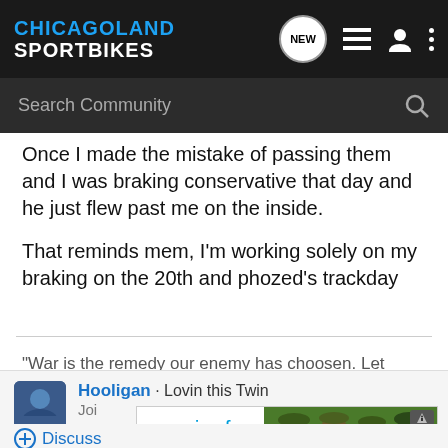CHICAGOLAND SPORTBIKES
Once I made the mistake of passing them and I was braking conservative that day and he just flew past me on the inside.
That reminds mem, I'm working solely on my braking on the 20th and phozed's trackday
"War is the remedy our enemy has choosen. Let them have as much as they want."
Hooligan · Lovin this Twin
[Figure (screenshot): UNICEF advertisement with children photo]
Discuss